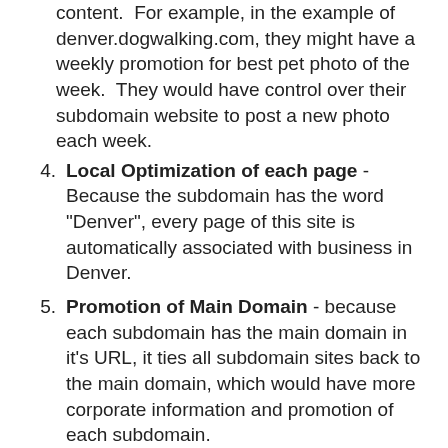content.  For example, in the example of denver.dogwalking.com, they might have a weekly promotion for best pet photo of the week.  They would have control over their subdomain website to post a new photo each week.
4. Local Optimization of each page - Because the subdomain has the word "Denver", every page of this site is automatically associated with business in Denver.
5. Promotion of Main Domain - because each subdomain has the main domain in it's URL, it ties all subdomain sites back to the main domain, which would have more corporate information and promotion of each subdomain.
6. Internal and External Linking - Google gives websites better PageRank if there are external websites linking to pages of your website, or links within your website to other pages of your website.